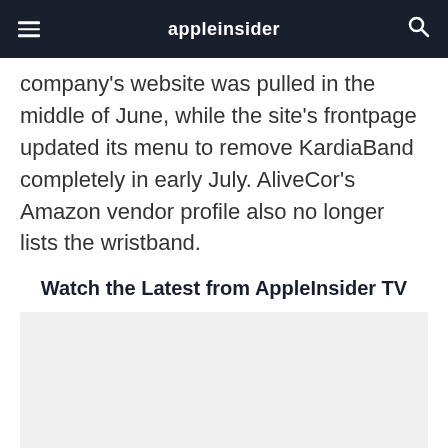appleinsider
company's website was pulled in the middle of June, while the site's frontpage updated its menu to remove KardiaBand completely in early July. AliveCor's Amazon vendor profile also no longer lists the wristband.
Watch the Latest from AppleInsider TV
[Figure (other): Video placeholder / embed area with light gray background]